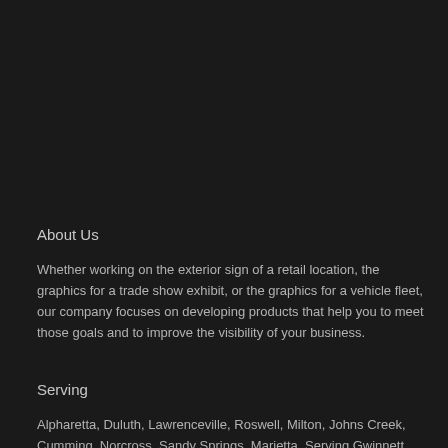About Us
Whether working on the exterior sign of a retail location, the graphics for a trade show exhibit, or the graphics for a vehicle fleet, our company focuses on developing products that help you to meet those goals and to improve the visibility of your business.
Serving
Alpharetta, Duluth, Lawrenceville, Roswell, Milton, Johns Creek, Cumming, Norcross, Sandy Springs, Marietta, Serving Gwinnett,